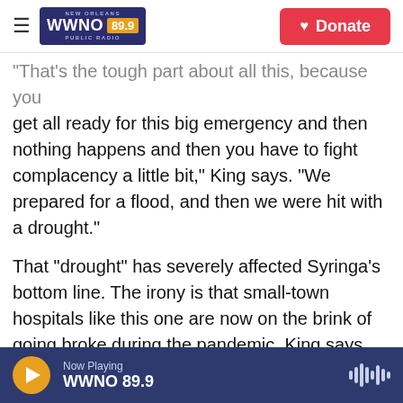WWNO 89.9 New Orleans Public Radio — Donate
"That's the tough part about all this, because you get all ready for this big emergency and then nothing happens and then you have to fight complacency a little bit," King says. "We prepared for a flood, and then we were hit with a drought."
That "drought" has severely affected Syringa's bottom line. The irony is that small-town hospitals like this one are now on the brink of going broke during the pandemic. King says people just stopped coming into the hospital, its clinic and even its emergency room. All elective procedures were canceled. Since the pandemic took hold in March, revenue here has dropped by half.
Now Playing — WWNO 89.9